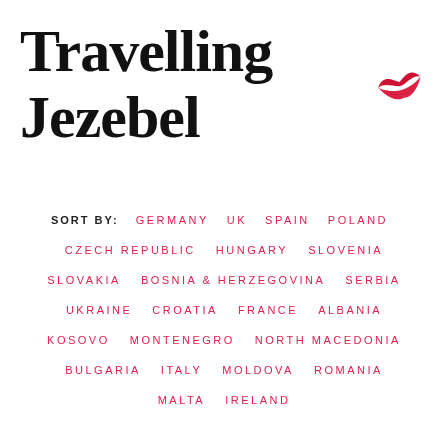Travelling Jezebel
[Figure (illustration): Red lipstick kiss mark icon in top right of title area]
SORT BY: GERMANY  UK  SPAIN  POLAND
CZECH REPUBLIC  HUNGARY  SLOVENIA
SLOVAKIA  BOSNIA & HERZEGOVINA  SERBIA
UKRAINE  CROATIA  FRANCE  ALBANIA
KOSOVO  MONTENEGRO  NORTH MACEDONIA
BULGARIA  ITALY  MOLDOVA  ROMANIA
MALTA  IRELAND